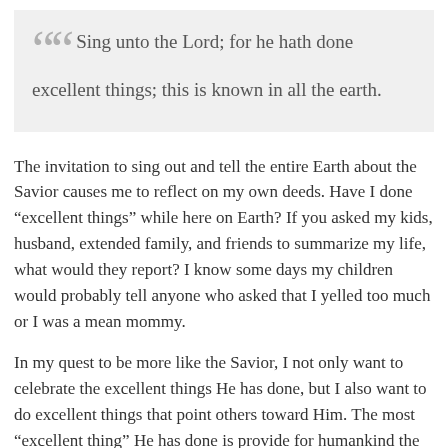Sing unto the Lord; for he hath done excellent things; this is known in all the earth.
The invitation to sing out and tell the entire Earth about the Savior causes me to reflect on my own deeds. Have I done “excellent things” while here on Earth? If you asked my kids, husband, extended family, and friends to summarize my life, what would they report? I know some days my children would probably tell anyone who asked that I yelled too much or I was a mean mommy.
In my quest to be more like the Savior, I not only want to celebrate the excellent things He has done, but I also want to do excellent things that point others toward Him. The most “excellent thing” He has done is provide for humankind the Resurrection and the opportunity to gain eternal life—collectively summarized in this chapter as “salvation.” The most excellent thing I can do is raise my children to follow Jesus Christ, lift my neighbors, and bring others